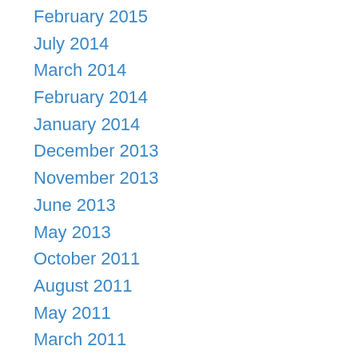February 2015
July 2014
March 2014
February 2014
January 2014
December 2013
November 2013
June 2013
May 2013
October 2011
August 2011
May 2011
March 2011
February 2011
November 2010